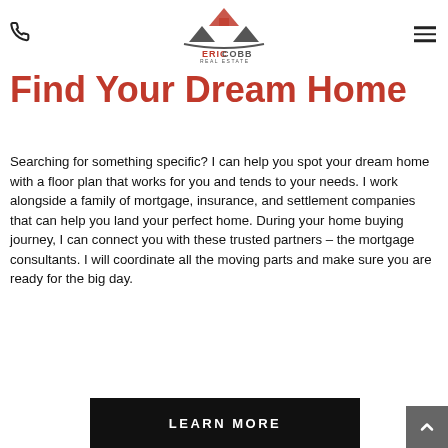Eric Cobb Real Estate — phone icon and menu icon
[Figure (logo): Eric Cobb Real Estate logo — mountain/house silhouette with the text ERIC COBB REAL ESTATE]
Find Your Dream Home
Searching for something specific? I can help you spot your dream home with a floor plan that works for you and tends to your needs. I work alongside a family of mortgage, insurance, and settlement companies that can help you land your perfect home. During your home buying journey, I can connect you with these trusted partners – the mortgage consultants. I will coordinate all the moving parts and make sure you are ready for the big day.
LEARN MORE